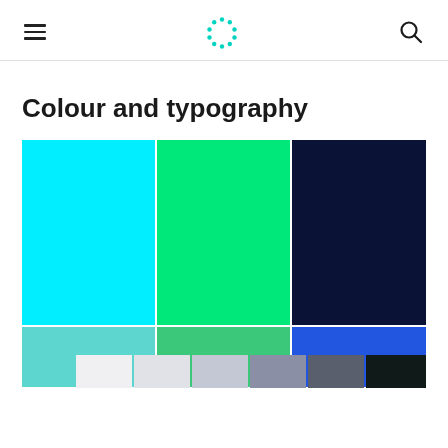Navigation header with hamburger menu, dot logo, and search icon
Colour and typography
[Figure (illustration): Colour palette swatches showing three columns: cyan/light-teal, bright green, and dark navy blue (top two rows), then below: muted teal, muted green, bright blue (third row), and a bottom strip of six neutral swatches from white to near-black]